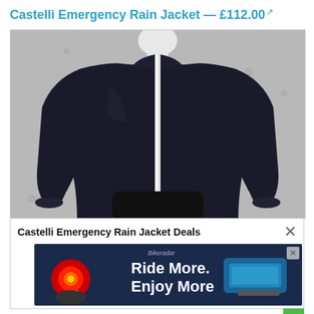Castelli Emergency Rain Jacket — £112.00
[Figure (photo): A black Castelli Emergency Rain Jacket displayed on a mannequin against a grey concrete-textured background. The jacket has a full-length zip and long sleeves.]
Castelli Emergency Rain Jacket Deals
[Figure (photo): Advertisement banner reading 'Ride More. Enjoy More' with images of a red bike light and a blue cycling accessory.]